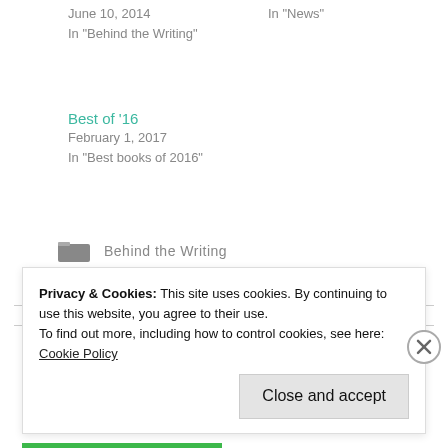June 10, 2014
In "Behind the Writing"
In "News"
Best of '16
February 1, 2017
In "Best books of 2016"
Behind the Writing
Privacy & Cookies: This site uses cookies. By continuing to use this website, you agree to their use.
To find out more, including how to control cookies, see here: Cookie Policy
Close and accept